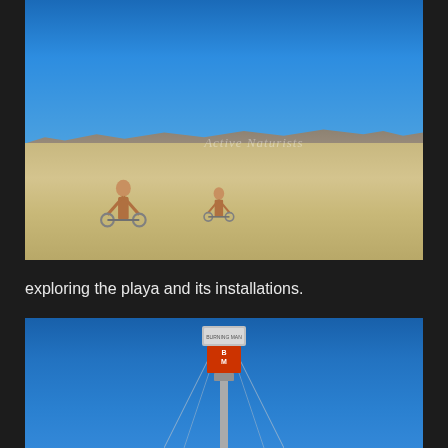[Figure (photo): Wide shot of a dry desert playa (Black Rock Desert / Burning Man) with two figures on bicycles in the middle distance on cracked sandy ground, mountains on the horizon, and a clear bright blue sky. A watermark reading 'Active Naturists' is visible in the center of the image.]
exploring the playa and its installations.
[Figure (photo): Bottom portion of a tall tower or totem structure against a vivid blue sky. The structure has a metallic top sign and a red panel below with lettering, with cables extending diagonally from the top. Appears to be an art installation on the playa.]